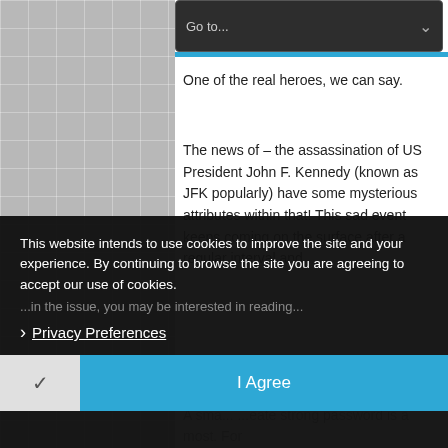[Figure (screenshot): A website screenshot showing a navigation dropdown bar at the top with 'Go to...' text and a chevron, a blue accent line, and article content below. A cookie consent overlay covers the bottom half of the screen with text about cookies, a Privacy Preferences link, and two buttons: a checkmark/decline button and a blue 'I Agree' button.]
more about him and his work in an article named – Fearless In Gaza
One of the real heroes, we can say.
The news of – the assassination of US President John F. Kennedy (known as JFK popularly) have some mysterious attributes within that! This sad event keeps coming on the surface after a regular interval and
people are interested in knowing
This website intends to use cookies to improve the site and your experience. By continuing to browse the site you are agreeing to accept our use of cookies.
Privacy Preferences
I Agree
A sma... ...eate strong password is a must. For